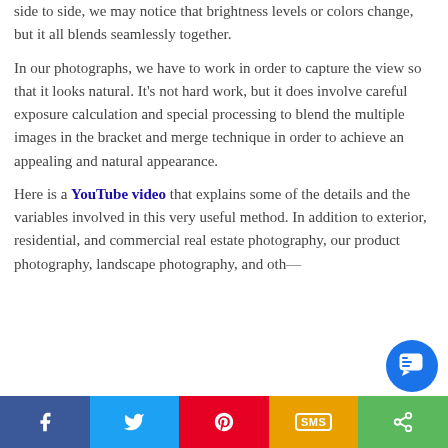side to side, we may notice that brightness levels or colors change, but it all blends seamlessly together.
In our photographs, we have to work in order to capture the view so that it looks natural. It’s not hard work, but it does involve careful exposure calculation and special processing to blend the multiple images in the bracket and merge technique in order to achieve an appealing and natural appearance.
Here is a YouTube video that explains some of the details and the variables involved in this very useful method. In addition to exterior, residential, and commercial real estate photography, our product photography, landscape photography, and other creative photography can benefit from this...
Facebook | Twitter | Pinterest | SMS | Share